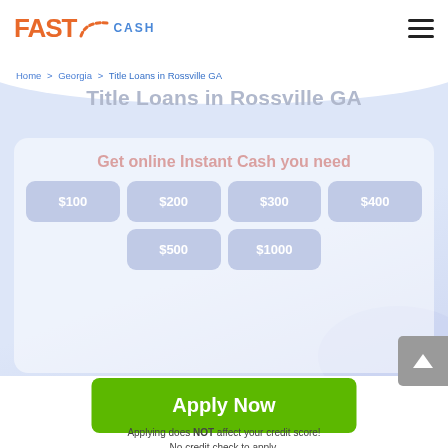FAST CASH [logo]
Home > Georgia > Title Loans in Rossville GA
Title Loans in Rossville GA
Get online Instant Cash you need
$100
$200
$300
$400
$500
$1000
Apply Now
Applying does NOT affect your credit score!
No credit check to apply.